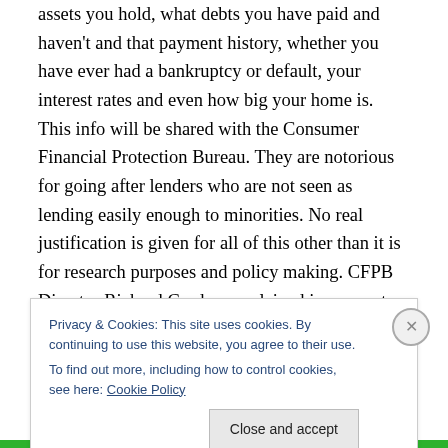assets you hold, what debts you have paid and haven't and that payment history, whether you have ever had a bankruptcy or default, your interest rates and even how big your home is. This info will be shared with the Consumer Financial Protection Bureau. They are notorious for going after lenders who are not seen as lending easily enough to minorities. No real justification is given for all of this other than it is for research purposes and policy making. CFPB Director Richard Cordray explained in a recent talk to the radical California-based Greenlining Institute: “We will be better able to identify
Privacy & Cookies: This site uses cookies. By continuing to use this website, you agree to their use.
To find out more, including how to control cookies, see here: Cookie Policy